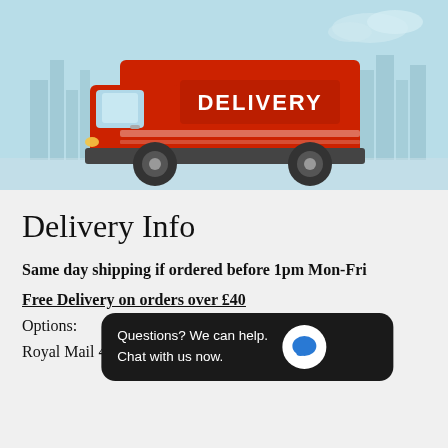[Figure (illustration): Red delivery truck cartoon illustration with 'DELIVERY' text on the side, set against a light blue sky and city skyline background.]
Delivery Info
Same day shipping if ordered before 1pm Mon-Fri
Free Delivery on orders over £40
Options:
[Figure (screenshot): Chat widget overlay: 'Questions? We can help. Chat with us now.' with blue chat bubble icon on dark background.]
Royal Mail 48 Hour (2 Working Days) - £3.99